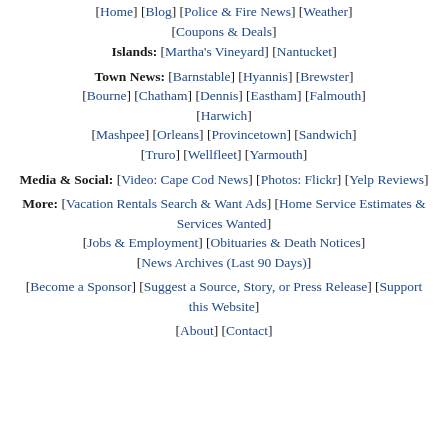[Home] [Blog] [Police & Fire News] [Weather] [Coupons & Deals]
Islands: [Martha's Vineyard] [Nantucket]
Town News: [Barnstable] [Hyannis] [Brewster] [Bourne] [Chatham] [Dennis] [Eastham] [Falmouth] [Harwich] [Mashpee] [Orleans] [Provincetown] [Sandwich] [Truro] [Wellfleet] [Yarmouth]
Media & Social: [Video: Cape Cod News] [Photos: Flickr] [Yelp Reviews]
More: [Vacation Rentals Search & Want Ads] [Home Service Estimates & Services Wanted] [Jobs & Employment] [Obituaries & Death Notices] [News Archives (Last 90 Days)]
[Become a Sponsor] [Suggest a Source, Story, or Press Release] [Support this Website]
[About] [Contact]